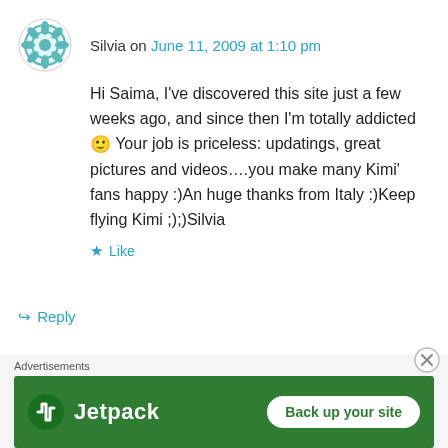Silvia on June 11, 2009 at 1:10 pm
Hi Saima, I've discovered this site just a few weeks ago, and since then I'm totally addicted 🙂 Your job is priceless: updatings, great pictures and videos….you make many Kimi' fans happy :)An huge thanks from Italy :)Keep flying Kimi ;);)Silvia
★ Like
↪ Reply
piyush on July 10, 2009 at 7:51 am
Advertisements
[Figure (infographic): Jetpack advertisement banner with green background, Jetpack logo and icon on the left, and a 'Back up your site' white button on the right.]